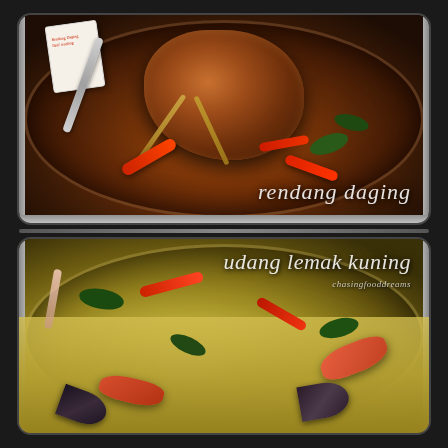[Figure (photo): Top photo: A stainless steel wok/pan containing rendang daging (beef rendang), a dry Malaysian/Indonesian spiced beef curry. A piece of dark brown, richly spiced beef is lifted on a serving spoon. The dish contains red chilies, lemongrass sticks, dark green kaffir lime leaves, and a rich dark brown spiced coconut sauce. A menu card is partially visible in the background upper left. Text overlay reads 'rendang daging' in white italic serif font at bottom right.]
rendang daging
[Figure (photo): Bottom photo: A stainless steel wok/pan containing udang lemak kuning (prawns in yellow coconut milk curry). The dish shows large prawns/shrimp in a golden yellow creamy coconut curry sauce, with red chilies, dark green herbs/leaves, shallot strips, and black mussels. Text overlay reads 'udang lemak kuning' in white italic serif font at top right, with 'chasingfooddreams' blog credit below it.]
udang lemak kuning
chasingfooddreams